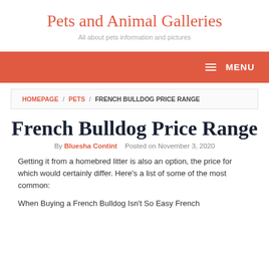Pets and Animal Galleries
All about pets information and pictures
MENU
HOMEPAGE / PETS / FRENCH BULLDOG PRICE RANGE
French Bulldog Price Range
By Bluesha Contint   Posted on November 3, 2020
Getting it from a homebred litter is also an option, the price for which would certainly differ. Here's a list of some of the most common:
When Buying a French Bulldog Isn't So Easy French